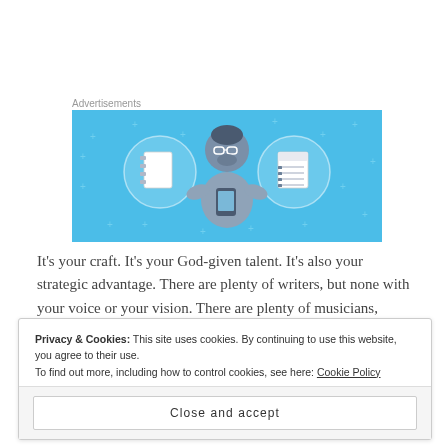Advertisements
[Figure (illustration): Blue banner advertisement showing a cartoon person holding a phone, flanked by two circular icons containing a notebook and a lined notepad, with small plus/cross decorative elements on the blue background.]
It's your craft. It's your God-given talent. It's also your strategic advantage. There are plenty of writers, but none with your voice or your vision. There are plenty of musicians,
Privacy & Cookies: This site uses cookies. By continuing to use this website, you agree to their use.
To find out more, including how to control cookies, see here: Cookie Policy
Close and accept